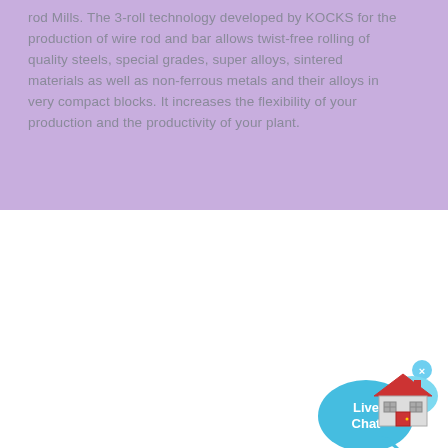rod Mills. The 3-roll technology developed by KOCKS for the production of wire rod and bar allows twist-free rolling of quality steels, special grades, super alloys, sintered materials as well as non-ferrous metals and their alloys in very compact blocks. It increases the flexibility of your production and the productivity of your plant.
[Figure (illustration): Live Chat speech bubble widget with cyan/blue color and a close (x) button in the top right corner]
[Figure (illustration): Red and gray house/home icon in the bottom right corner]